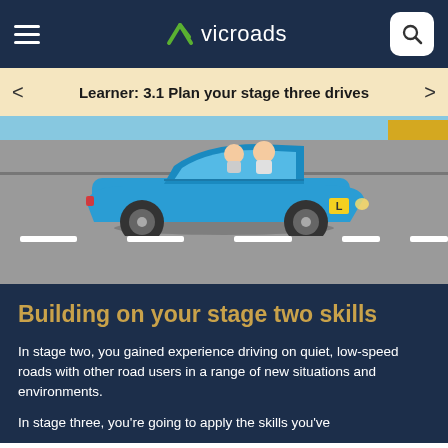VicRoads
Learner: 3.1 Plan your stage three drives
[Figure (illustration): Illustration of a blue convertible car driving on a grey road with road markings, viewed from the side. The car has two passengers visible.]
Building on your stage two skills
In stage two, you gained experience driving on quiet, low-speed roads with other road users in a range of new situations and environments.
In stage three, you're going to apply the skills you've